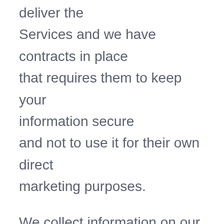deliver the Services and we have contracts in place that requires them to keep your information secure and not to use it for their own direct marketing purposes.
We collect information on our website to process your enquiry, deal with your event registration, give advice based on survey data and improve our services. If you agree, we will also use this information to share updates with you about our services